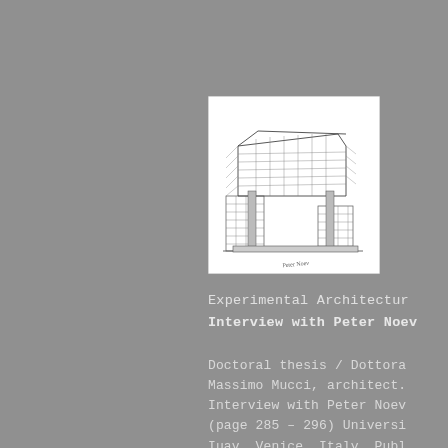[Figure (illustration): Architectural sketch/drawing of an experimental modern building with large cantilevered upper floors, glass facades, and structural elements. Appears to be a hand-drawn pen-and-ink illustration with a signature at the bottom.]
Experimental Architecture
Interview with Peter Noev
Doctoral thesis / Dottora
Massimo Mucci, architect.
Interview with Peter Noev
(page 285 - 296) Universi
Iuav, Venice, Italy. Publ